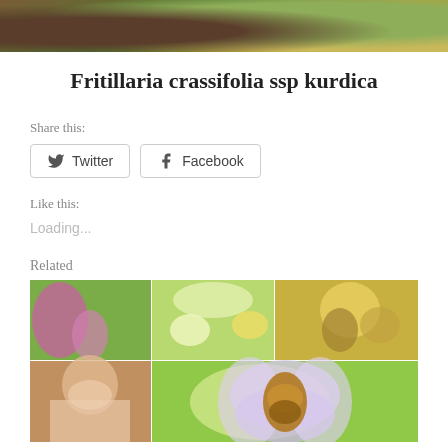[Figure (photo): Top banner photo showing plant/nature close-up with green and brown tones]
Fritillaria crassifolia ssp kurdica
Share this:
Twitter  Facebook
Like this:
Loading...
Related
[Figure (photo): Grid of related photos: pink/purple flowers, woman in white top, green plants with yellow flowers, bee orchid flowers, and a large bee orchid close-up]